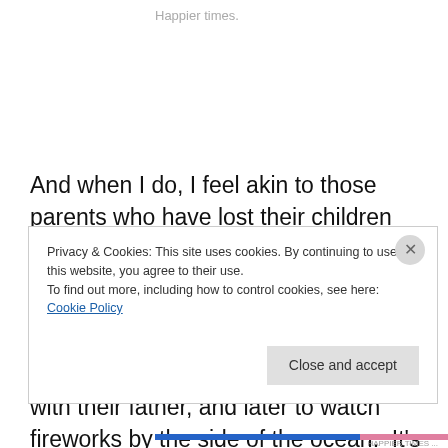Happier times.
And when I do, I feel akin to those parents who have lost their children through some great tragedy.  Except that mine are perfectly fine.  Now young adults, they're on a beach in Virginia this week, getting sunburned and hot as they wait to go to dinner with their father, and later to watch fireworks by the side of the ocean.  It's the yearly
Privacy & Cookies: This site uses cookies. By continuing to use this website, you agree to their use.
To find out more, including how to control cookies, see here: Cookie Policy